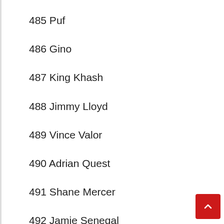485 Puf
486 Gino
487 King Khash
488 Jimmy Lloyd
489 Vince Valor
490 Adrian Quest
491 Shane Mercer
492 Jamie Senegal
493 James Sayga
494 Mark Wheel...